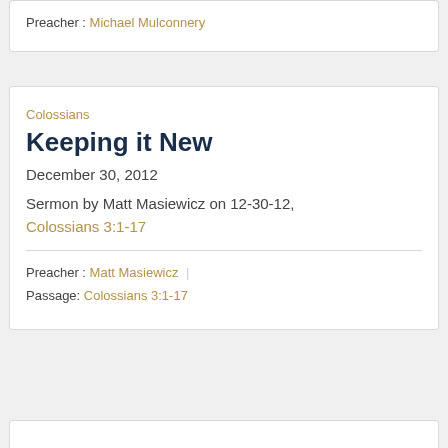Preacher : Michael Mulconnery
Colossians
Keeping it New
December 30, 2012
Sermon by Matt Masiewicz on 12-30-12, Colossians 3:1-17
Preacher : Matt Masiewicz
Passage: Colossians 3:1-17